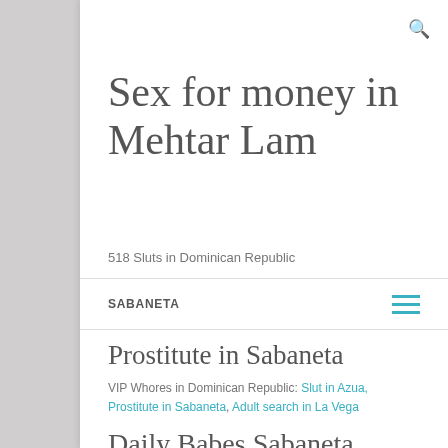Sex for money in Mehtar Lam
518 Sluts in Dominican Republic
SABANETA
Prostitute in Sabaneta
VIP Whores in Dominican Republic: Slut in Azua, Prostitute in Sabaneta, Adult search in La Vega
Daily Babes Sabaneta